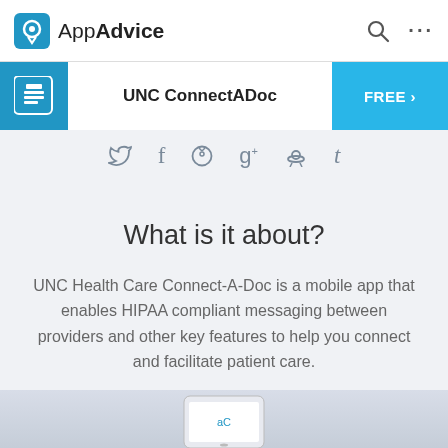AppAdvice
UNC ConnectADoc
[Figure (screenshot): Social sharing icons: Twitter, Facebook, Pinterest, Google+, Reddit, Tumblr]
What is it about?
UNC Health Care Connect-A-Doc is a mobile app that enables HIPAA compliant messaging between providers and other key features to help you connect and facilitate patient care.
[Figure (screenshot): Bottom portion of a phone screenshot showing the UNC ConnectADoc app interface]